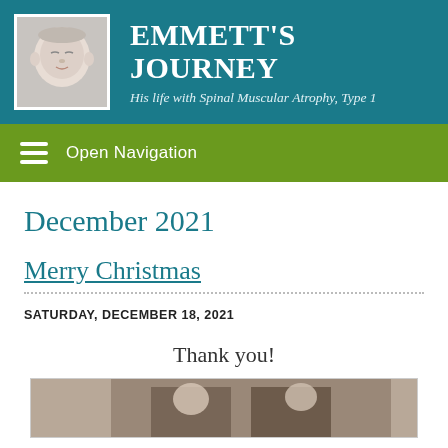EMMETT'S JOURNEY — His life with Spinal Muscular Atrophy, Type 1
December 2021
Merry Christmas
SATURDAY, DECEMBER 18, 2021
Thank you!
[Figure (photo): Photo strip showing a child, partially visible at bottom of page]